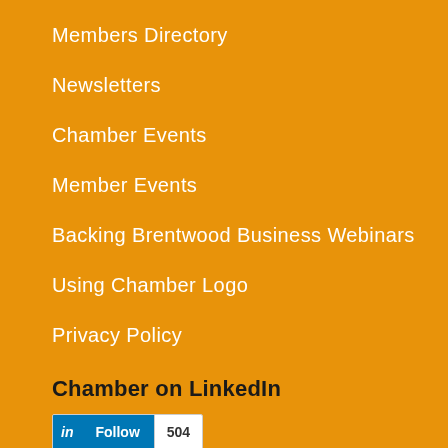Members Directory
Newsletters
Chamber Events
Member Events
Backing Brentwood Business Webinars
Using Chamber Logo
Privacy Policy
Chamber on LinkedIn
[Figure (other): LinkedIn Follow button widget showing 504 followers]